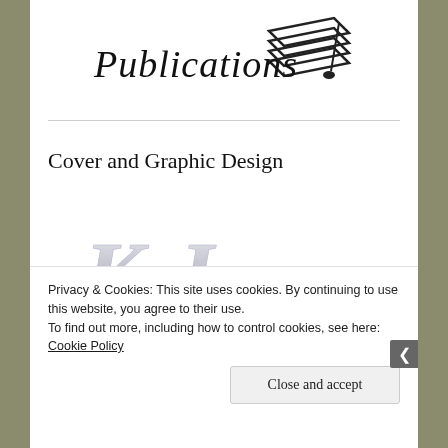[Figure (logo): Publications logo with stacked books icon and italic/serif 'Publications' text]
Cover and Graphic Design
[Figure (logo): KJ monogram logo in silver script with blue block letters below, partially visible]
Privacy & Cookies: This site uses cookies. By continuing to use this website, you agree to their use.
To find out more, including how to control cookies, see here: Cookie Policy
Close and accept